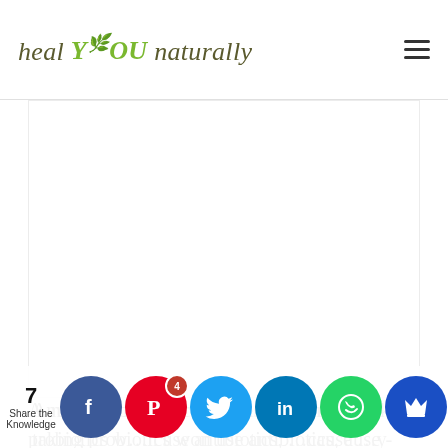heal YOU naturally
[Figure (other): White image/advertisement area]
A number of research studies recommend taking probiotics when we use antibiotics, because they decrease the
[Figure (other): Social media sharing bar with Facebook, Pinterest (4), Twitter, LinkedIn, WhatsApp, and crown icon buttons. Share count: 7. Label: Share the Knowledge]